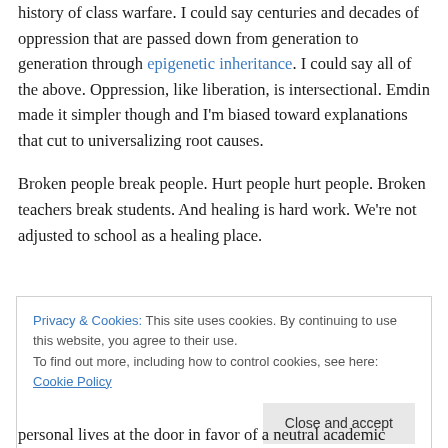history of class warfare. I could say centuries and decades of oppression that are passed down from generation to generation through epigenetic inheritance. I could say all of the above. Oppression, like liberation, is intersectional. Emdin made it simpler though and I'm biased toward explanations that cut to universalizing root causes.
Broken people break people. Hurt people hurt people. Broken teachers break students. And healing is hard work. We're not adjusted to school as a healing place.
Privacy & Cookies: This site uses cookies. By continuing to use this website, you agree to their use.
To find out more, including how to control cookies, see here: Cookie Policy
personal lives at the door in favor of a neutral academic